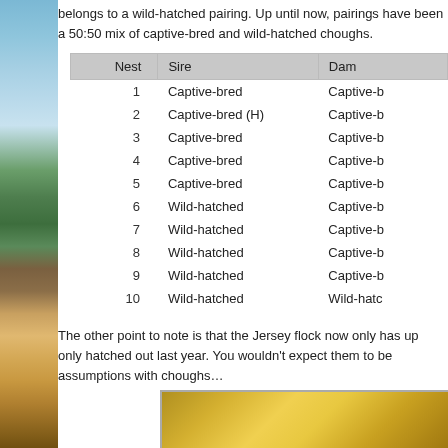belongs to a wild-hatched pairing. Up until now, pairings have been a 50:50 mix of captive-bred and wild-hatched choughs.
| Nest | Sire | Dam |
| --- | --- | --- |
| 1 | Captive-bred | Captive-b... |
| 2 | Captive-bred (H) | Captive-b... |
| 3 | Captive-bred | Captive-b... |
| 4 | Captive-bred | Captive-b... |
| 5 | Captive-bred | Captive-b... |
| 6 | Wild-hatched | Captive-b... |
| 7 | Wild-hatched | Captive-b... |
| 8 | Wild-hatched | Captive-b... |
| 9 | Wild-hatched | Captive-b... |
| 10 | Wild-hatched | Wild-hatc... |
The other point to note is that the Jersey flock now only has up only hatched out last year. You wouldn't expect them to be assumptions with choughs…
[Figure (photo): Photo of choughs/wildlife in golden/orange vegetation]